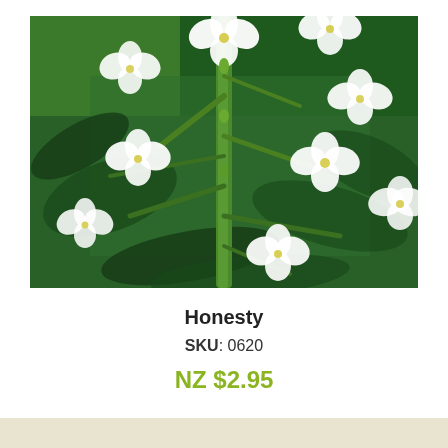[Figure (photo): Close-up photograph of Honesty plant (Lunaria) with white four-petaled flowers blooming on a green stem against a dark green leafy background]
Honesty
SKU: 0620
NZ $2.95